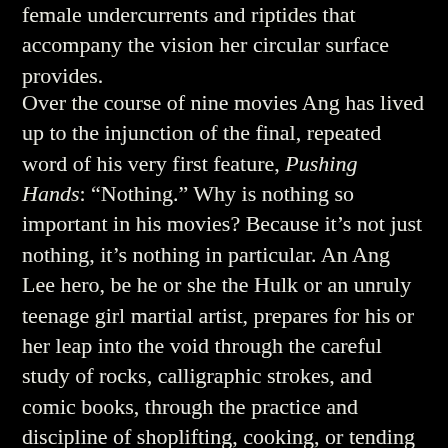female undercurrents and riptides that accompany the vision her circular surface provides.
Over the course of nine movies Ang has lived up to the injunction of the final, repeated word of his very first feature, Pushing Hands: “Nothing.” Why is nothing so important in his movies? Because it’s not just nothing, it’s nothing in particular. An Ang Lee hero, be he or she the Hulk or an unruly teenage girl martial artist, prepares for his or her leap into the void through the careful study of rocks, calligraphic strokes, and comic books, through the practice and discipline of shoplifting, cooking, or tending sheep. Every detail of an Ang Lee movie is an object of fascinating, absorptive power, and only through the experience of its particularity can we educate ourselves for the nothing that is our destiny.